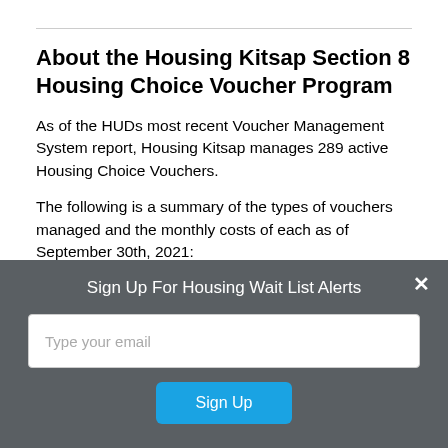About the Housing Kitsap Section 8 Housing Choice Voucher Program
As of the HUDs most recent Voucher Management System report, Housing Kitsap manages 289 active Housing Choice Vouchers.
The following is a summary of the types of vouchers managed and the monthly costs of each as of September 30th, 2021:
Sign Up For Housing Wait List Alerts
Type your email
Sign Up